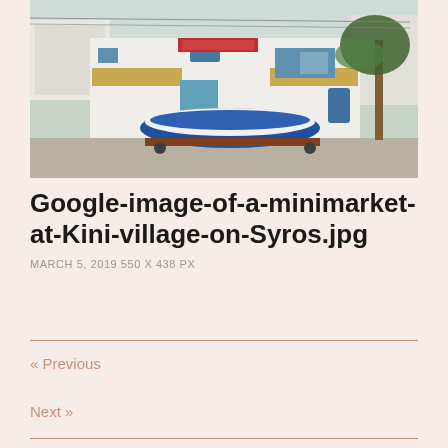[Figure (photo): Google Street View image of a minimarket building at Kini village on Syros, Greece. A speedboat on a trailer is parked in front of the white building with blue accents and a yellow awning. A palm tree is visible on the right side.]
Google-image-of-a-minimarket-at-Kini-village-on-Syros.jpg
MARCH 5, 2019 550 x 438 PX
« Previous
Next »